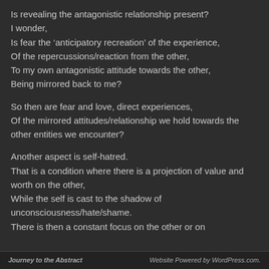Is revealing the antagonistic relationship present?
I wonder,
Is fear the ‘anticipatory recreation’ of the experience,
Of the repercussions/reaction from the other,
To my own antagonistic attitude towards the other,
Being mirrored back to me?
So then are fear and love, direct experiences,
Of the mirrored attitudes/relationship we hold towards the other entities we encounter?
Another aspect is self-hatred.
That is a condition where there is a projection of value and worth on the other,
While the self is cast to the shadow of unconsciousness/hate/shame.
There is then a constant focus on the other or on
Journey to the Abstract                    Website Powered by WordPress.com.